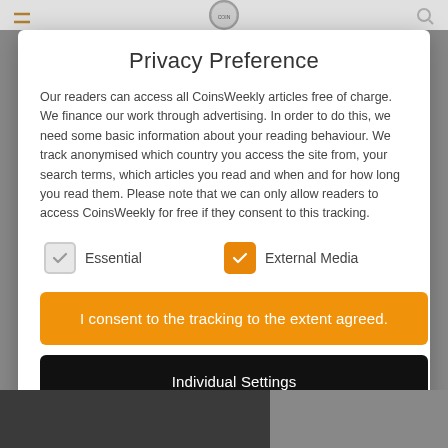Privacy Preference
Our readers can access all CoinsWeekly articles free of charge. We finance our work through advertising. In order to do this, we need some basic information about your reading behaviour. We track anonymised which country you access the site from, your search terms, which articles you read and when and for how long you read them. Please note that we can only allow readers to access CoinsWeekly for free if they consent to this tracking.
Essential (checkbox, unchecked)
External Media (checkbox, checked)
I consent to the tracking to the extent agreed.
Individual Settings